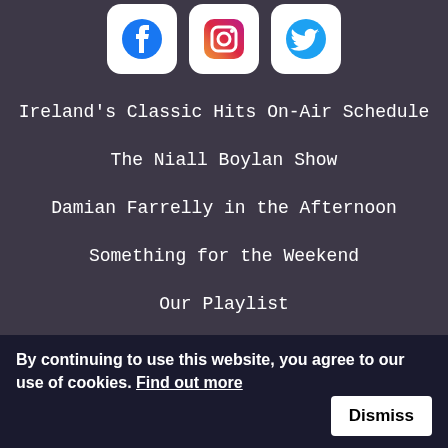[Figure (infographic): Three social media icon buttons: Facebook (blue), Instagram (pink/magenta), Twitter (blue), each in a white rounded square box]
Ireland's Classic Hits On-Air Schedule
The Niall Boylan Show
Damian Farrelly in the Afternoon
Something for the Weekend
Our Playlist
Find Your Frequency
Classic Hits 80's
By continuing to use this website, you agree to our use of cookies. Find out more  Dismiss